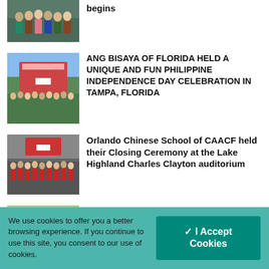[Figure (photo): Group photo of people at an event, partially visible at top]
begins
[Figure (photo): Outdoor group photo at Philippine Independence Day celebration with colorful decorations]
ANG BISAYA OF FLORIDA HELD A UNIQUE AND FUN PHILIPPINE INDEPENDENCE DAY CELEBRATION IN TAMPA, FLORIDA
[Figure (photo): Group photo of children in red uniforms at Orlando Chinese School closing ceremony]
Orlando Chinese School of CAACF held their Closing Ceremony at the Lake Highland Charles Clayton auditorium
[Figure (photo): People posing with flags at Asian American Friendship Picnic]
Asian American Friendship Picnic
We use cookies to offer you a better browsing experience. If you continue to use this site, you consent to our use of cookies.
✓ I Accept Cookies